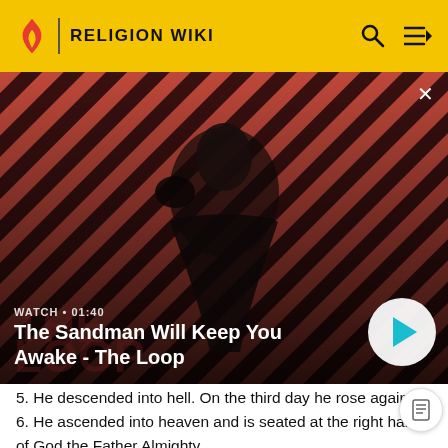RELIGION WIKI
[Figure (screenshot): Video thumbnail for 'The Sandman Will Keep You Awake - The Loop'. Dark-themed image of a pale figure in black with a raven on their shoulder, against a red and black diagonal striped background. Shows WATCH • 01:40 label and play button.]
WATCH • 01:40
The Sandman Will Keep You Awake - The Loop
5. He descended into hell. On the third day he rose again.
6. He ascended into heaven and is seated at the right hand of God the Father Almighty.
7. He will come again to judge the living and the dead.
8. I believe in the Holy Spirit,
9. the holy catholic Church, the communion of saints,